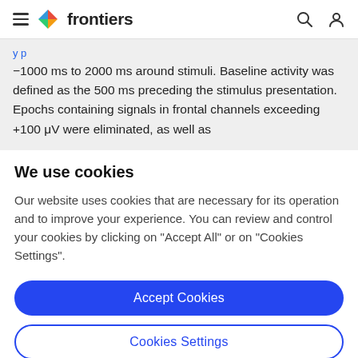frontiers
–1000 ms to 2000 ms around stimuli. Baseline activity was defined as the 500 ms preceding the stimulus presentation. Epochs containing signals in frontal channels exceeding +100 μV were eliminated, as well as
We use cookies
Our website uses cookies that are necessary for its operation and to improve your experience. You can review and control your cookies by clicking on "Accept All" or on "Cookies Settings".
Accept Cookies
Cookies Settings